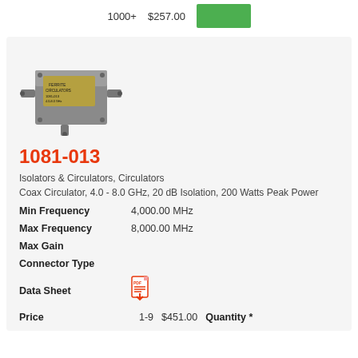1000+   $257.00   [Add to Cart button]
[Figure (photo): Photo of a metal coax circulator component (1081-013), a small gray rectangular RF device with SMA connectors on three sides]
1081-013
Isolators & Circulators, Circulators
Coax Circulator, 4.0 - 8.0 GHz, 20 dB Isolation, 200 Watts Peak Power
Min Frequency   4,000.00 MHz
Max Frequency   8,000.00 MHz
Max Gain
Connector Type
Data Sheet   [PDF icon]
Price   1-9   $451.00   Quantity *